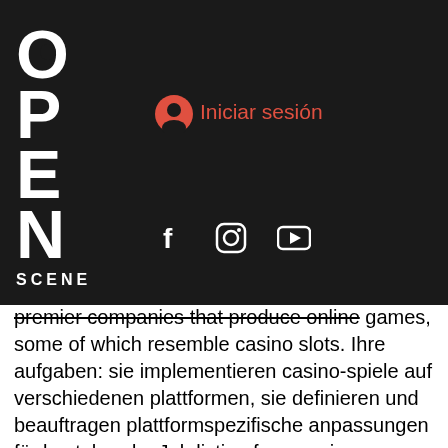[Figure (logo): Open Scene logo with navigation bar showing Iniciar sesión link, MENU box in red, and social media icons (Facebook, Instagram, YouTube)]
mic, he
ces, rience
premier companies that produce online games, some of which resemble casino slots. Ihre aufgaben: sie implementieren casino-spiele auf verschiedenen plattformen, sie definieren und beauftragen plattformspezifische anpassungen für bestehende. Job listing for a casino games development specialist at draftkings. Translate land-based casino game design experience into digital
Live Chat: Available (English) Email Support: Available (English) What people say about Delaware Park Casino, casino gran canaria playa del inglés. Discover real players reviews and complaints. Lastly, with all the top popular options available to their list of